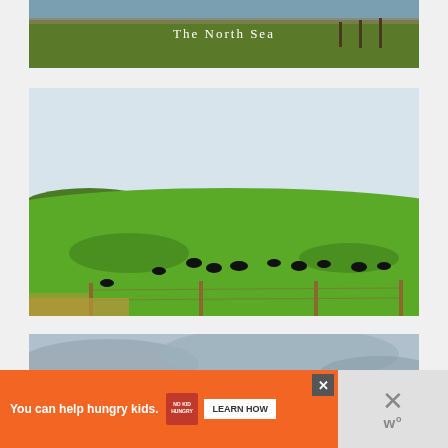[Figure (photo): Partial view of coastal cliffside with green grass and sea in the background. Text overlay reads 'The North Sea' in white.]
[Figure (photo): Landscape photo of green coastal farmland with black cattle grazing near the sea, with wooden fence posts in the foreground and blue ocean in the background.]
[Figure (photo): Partial view of coastal landscape with grey cloudy sky.]
You can help hungry kids. NO KID HUNGRY LEARN HOW